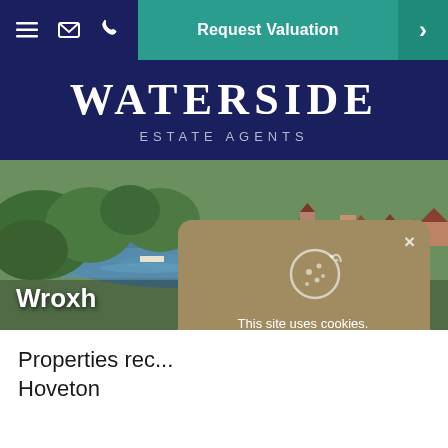Request Valuation
WATERSIDE
ESTATE AGENTS
[Figure (photo): Aerial photograph of Wroxham/Hoveton area showing river, boats, green trees and residential rooftops]
Wroxh...
[Figure (screenshot): Cookie consent popup with tan/gold background showing cookie icon, text 'This site uses cookies. Read about our cookie policy.' and 'OK, No problem' button, with X close button]
This site uses cookies.
Read about our cookie policy.

OK, No problem
Properties rec... Hoveton